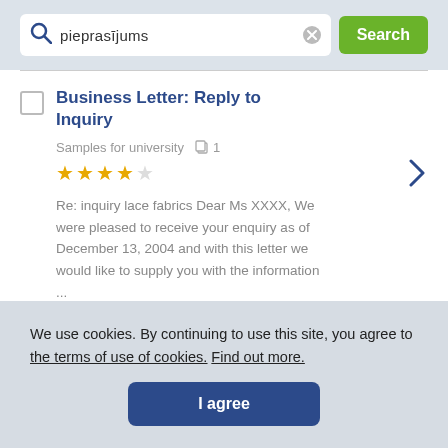[Figure (screenshot): Search bar with magnifying glass icon, text input showing 'pieprasījums', clear button, and green Search button]
Business Letter: Reply to Inquiry
Samples for university  1  ★★★★☆
Re: inquiry lace fabrics Dear Ms XXXX, We were pleased to receive your enquiry as of December 13, 2004 and with this letter we would like to supply you with the information ...
We use cookies. By continuing to use this site, you agree to the terms of use of cookies. Find out more.
I agree